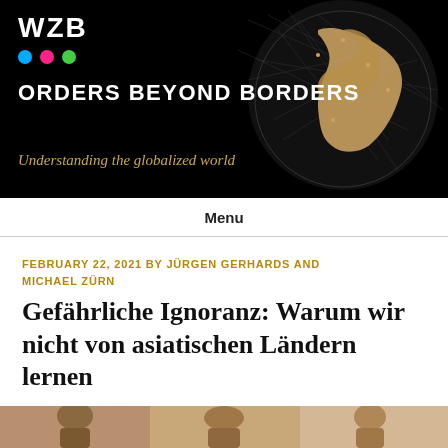WZB
ORDERS BEYOND BORDERS
Understanding the globalized world
Menu
FEBRUARY 22, 2021 BY JÜRGEN GERHARDS AND MICHAEL ZÜRN
Gefährliche Ignoranz: Warum wir nicht von asiatischen Ländern lernen
[Figure (photo): Partial view of people at bottom of page, cropped banner image]